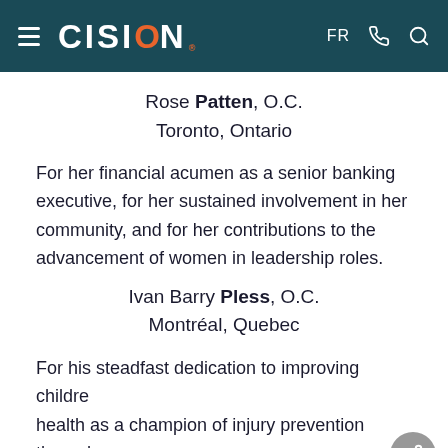CISION
Rose Patten, O.C.
Toronto, Ontario
For her financial acumen as a senior banking executive, for her sustained involvement in her community, and for her contributions to the advancement of women in leadership roles.
Ivan Barry Pless, O.C.
Montréal, Quebec
For his steadfast dedication to improving children's health as a champion of injury prevention through